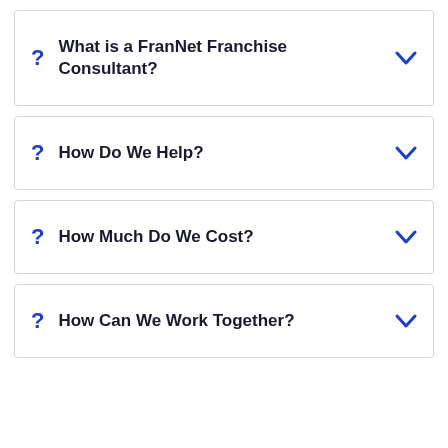What is a FranNet Franchise Consultant?
How Do We Help?
How Much Do We Cost?
How Can We Work Together?